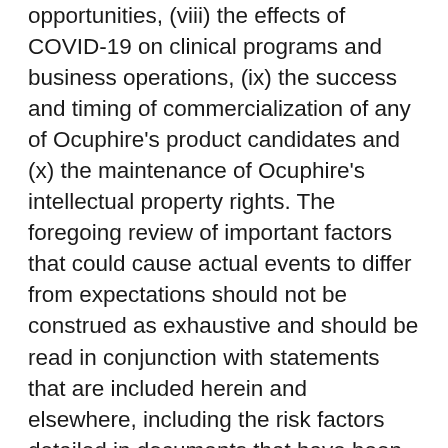opportunities, (viii) the effects of COVID-19 on clinical programs and business operations, (ix) the success and timing of commercialization of any of Ocuphire's product candidates and (x) the maintenance of Ocuphire's intellectual property rights. The foregoing review of important factors that could cause actual events to differ from expectations should not be construed as exhaustive and should be read in conjunction with statements that are included herein and elsewhere, including the risk factors detailed in documents that have been and may be filed by Ocuphire from time to time with the SEC. All forward-looking statements contained in this press release speak only as of the date on which they were made. Ocuphire undertakes no